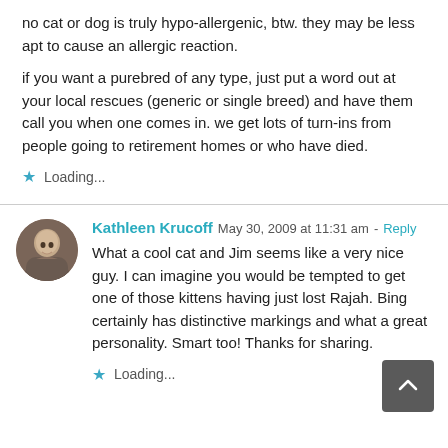no cat or dog is truly hypo-allergenic, btw. they may be less apt to cause an allergic reaction.
if you want a purebred of any type, just put a word out at your local rescues (generic or single breed) and have them call you when one comes in. we get lots of turn-ins from people going to retirement homes or who have died.
★ Loading...
Kathleen Krucoff  May 30, 2009 at 11:31 am - Reply
What a cool cat and Jim seems like a very nice guy. I can imagine you would be tempted to get one of those kittens having just lost Rajah. Bing certainly has distinctive markings and what a great personality. Smart too! Thanks for sharing.
★ Loading...